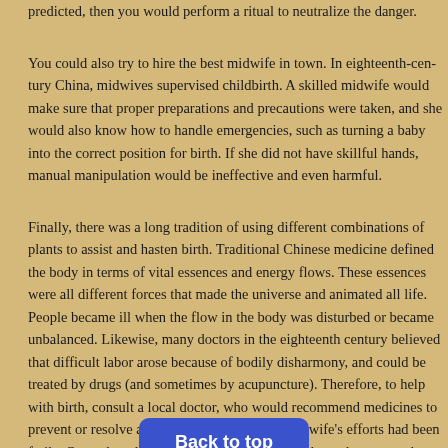predicted, then you would perform a ritual to neutralize the danger.
You could also try to hire the best midwife in town. In eighteenth-century China, midwives supervised childbirth. A skilled midwife would make sure that preparations and precautions were taken, and she would also know how to handle emergencies, such as turning a baby into the correct position for birth. If she did not have skillful hands, manual manipulation would be ineffective and even harmful.
Finally, there was a long tradition of using different combinations of plants to assist and hasten birth. Traditional Chinese medicine defined the body in terms of vital essences and energy flows. These essences were all different forces that made the universe and animated all life. People became ill when the flow in the body was disturbed or became unbalanced. Likewise, many doctors in the eighteenth century believed that difficult labor arose because of bodily disharmony, and could be treated by drugs (and sometimes by acupuncture). Therefore, to help with birth, consult a local doctor, who would recommend medicines to prevent or resolve a difficult labor when the midwife's efforts had been futile. Or read medical books yourself. In the eighteenth century, there were probably many medical books in circulation, including specialized texts on women's
Back to top